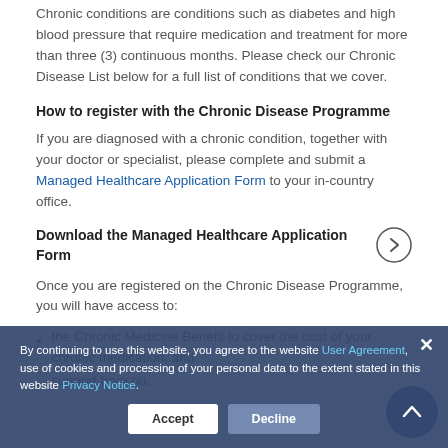Chronic conditions are conditions such as diabetes and high blood pressure that require medication and treatment for more than three (3) continuous months. Please check our Chronic Disease List below for a full list of conditions that we cover.
How to register with the Chronic Disease Programme
If you are diagnosed with a chronic condition, together with your doctor or specialist, please complete and submit a Managed Healthcare Application Form to your in-country office.
Download the Managed Healthcare Application Form
Once you are registered on the Chronic Disease Programme, you will have access to:
the Chronic Medicine Benefit to cover the cost of your chronic medication; and
support from our...
By continuing to use this website, you agree to the website User Agreement, use of cookies and processing of your personal data to the extent stated in this website Privacy Notice.